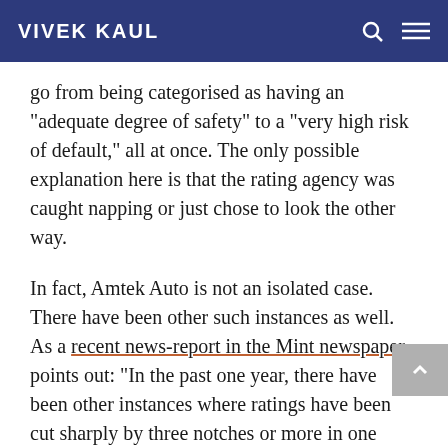VIVEK KAUL
go from being categorised as having an “adequate degree of safety” to a “very high risk of default,” all at once. The only possible explanation here is that the rating agency was caught napping or just chose to look the other way.
In fact, Amtek Auto is not an isolated case. There have been other such instances as well. As a recent news-report in the Mint newspaper points out: “In the past one year, there have been other instances where ratings have been cut sharply by three notches or more in one